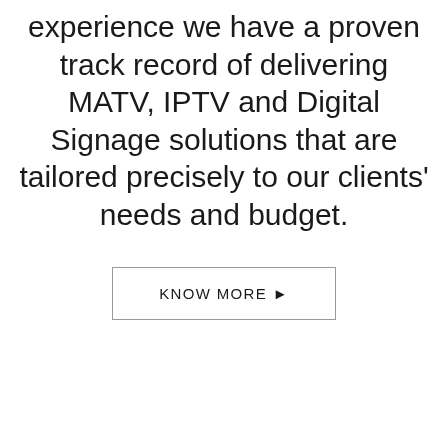experience we have a proven track record of delivering MATV, IPTV and Digital Signage solutions that are tailored precisely to our clients' needs and budget.
KNOW MORE 🡒